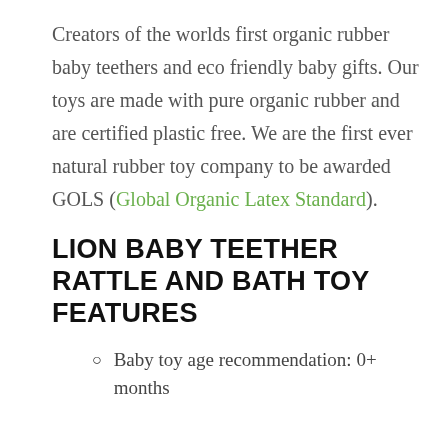Creators of the worlds first organic rubber baby teethers and eco friendly baby gifts. Our toys are made with pure organic rubber and are certified plastic free. We are the first ever natural rubber toy company to be awarded GOLS (Global Organic Latex Standard).
LION BABY TEETHER RATTLE AND BATH TOY FEATURES
Baby toy age recommendation: 0+ months